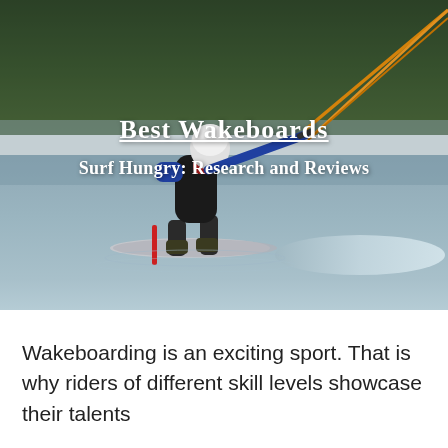[Figure (photo): A wakeboarder in a blue and red wetsuit and white helmet performing a trick on a lake, holding an orange rope, with green forested trees in the background and a wake ramp visible. Overlaid text reads 'Best Wakeboards' and 'Surf Hungry: Research and Reviews'.]
Best Wakeboards
Surf Hungry: Research and Reviews
Wakeboarding is an exciting sport. That is why riders of different skill levels showcase their talents